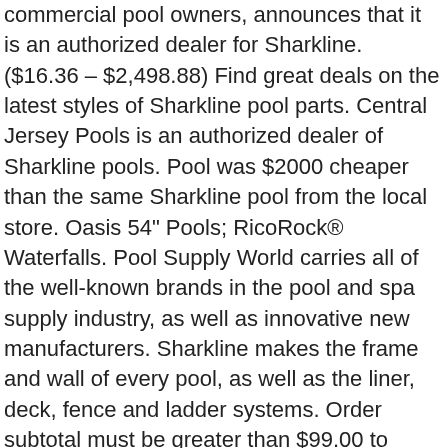commercial pool owners, announces that it is an authorized dealer for Sharkline. ($16.36 – $2,498.88) Find great deals on the latest styles of Sharkline pool parts. Central Jersey Pools is an authorized dealer of Sharkline pools. Pool was $2000 cheaper than the same Sharkline pool from the local store. Oasis 54" Pools; RicoRock® Waterfalls. Pool Supply World carries all of the well-known brands in the pool and spa supply industry, as well as innovative new manufacturers. Sharkline makes the frame and wall of every pool, as well as the liner, deck, fence and ladder systems. Order subtotal must be greater than $99.00 to qualify. I am not ordering yet but poolsupplyworld has beaten every pool site and shop around hands down. We're sorry we missed you; we look forward to assisting you soon. I have yet to find a better deal on a great pool like Sharkline and the price that poolsupplyworld offers. SHARKLINE Above Ground Pools Sharkline Beauty & Performance Sharkline has been